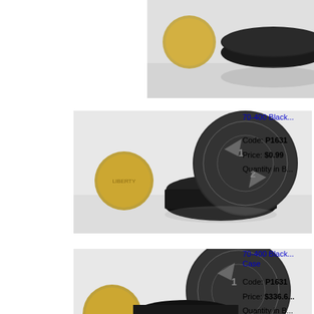[Figure (photo): Top portion of product image showing black caps/lids with a coin for size reference, on white background - partial view]
[Figure (photo): 70-400 Black cap product photo showing two black plastic screw caps with child-resistant markings, coin for size reference, white background]
70-400 Black...
Code: P1631
Price: $0.99
Quantity in B...
[Figure (photo): 70-400 Black cap - Case, partial product photo showing black plastic screw caps]
70-400 Black... Case
Code: P1631
Price: $336.6...
Quantity in B...